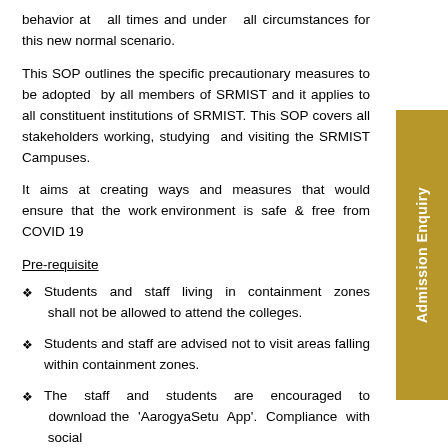behavior at all times and under all circumstances for this new normal scenario.
This SOP outlines the specific precautionary measures to be adopted by all members of SRMIST and it applies to all constituent institutions of SRMIST. This SOP covers all stakeholders working, studying and visiting the SRMIST Campuses.
It aims at creating ways and measures that would ensure that the work environment is safe & free from COVID 19
Pre-requisite
Students and staff living in containment zones shall not be allowed to attend the colleges.
Students and staff are advised not to visit areas falling within containment zones.
The staff and students are encouraged to download the 'AarogyaSetu App'. Compliance with social